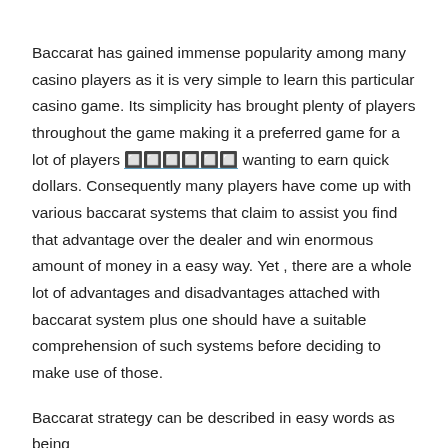Baccarat has gained immense popularity among many casino players as it is very simple to learn this particular casino game. Its simplicity has brought plenty of players throughout the game making it a preferred game for a lot of players [link] wanting to earn quick dollars. Consequently many players have come up with various baccarat systems that claim to assist you find that advantage over the dealer and win enormous amount of money in a easy way. Yet , there are a whole lot of advantages and disadvantages attached with baccarat system plus one should have a suitable comprehension of such systems before deciding to make use of those.
Baccarat strategy can be described in easy words as being...